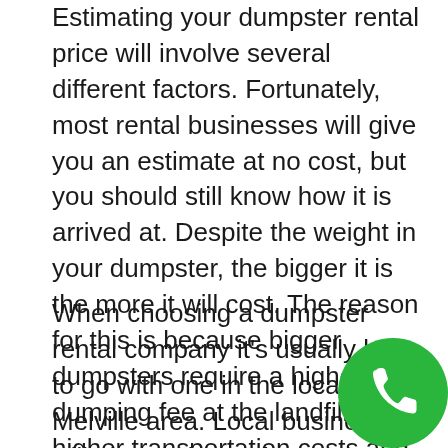Estimating your dumpster rental price will involve several different factors. Fortunately, most rental businesses will give you an estimate at no cost, but you should still know how it is arrived at. Despite the weight in your dumpster, the bigger it is the more it will cost. The reason for this is because bigger dumpsters require a higher dumping fee at the landfill, higher transportation costs and more effort to manage.
When choosing a dumpster rental company it's usually best to go with one in the local Melville area. Local businesses will already know the regulations, recycling and disposal procedures associated with local laws, which can save you some effort in the long run. They also know where certain waste materials can be disposed of. Try to provide your rental company with as many details as possible, this will allow them to give you the best price e